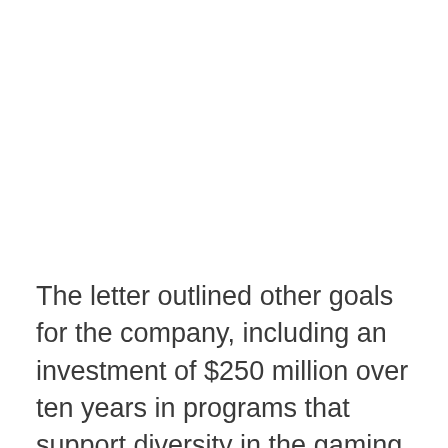The letter outlined other goals for the company, including an investment of $250 million over ten years in programs that support diversity in the gaming and technology industries. Activision Blizzard is also committing to expanding the number of women and nonbinary people it employs